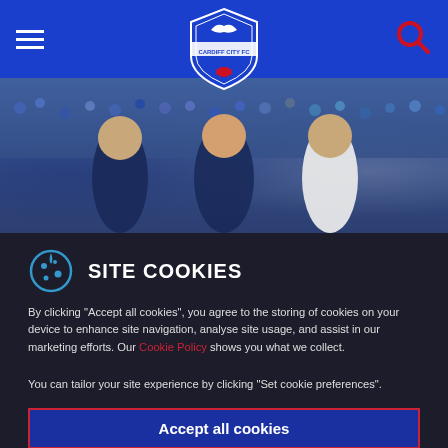[Figure (screenshot): Cardiff City FC website header with blue navigation bar, hamburger menu icon on left, Cardiff City FC shield logo in center, red search icon on right]
[Figure (photo): Three football players (two in blue, one in white) standing in front of a crowd of supporters]
SITE COOKIES
By clicking “Accept all cookies”, you agree to the storing of cookies on your device to enhance site navigation, analyse site usage, and assist in our marketing efforts. Our Cookie Policy shows you what we collect.
You can tailor your site experience by clicking "Set cookie preferences".
Accept all cookies
Set Cookie Pref...